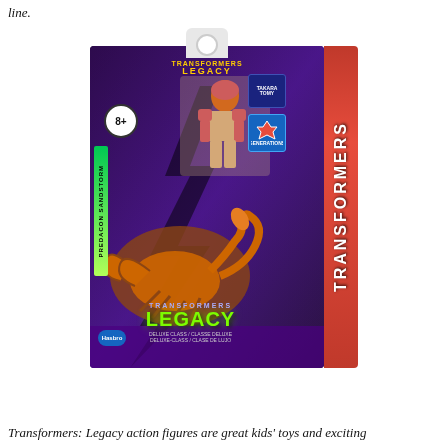line.
[Figure (photo): Transformers Legacy Deluxe Class Predacon Sandstorm action figure in packaging. Dark purple/black box with scorpion character art, the physical action figure visible in a window, TRANSFORMERS branding on the side, LEGACY logo at bottom, Hasbro and Takara Tomy logos, age rating 8+.]
Transformers: Legacy action figures are great kids' toys and exciting